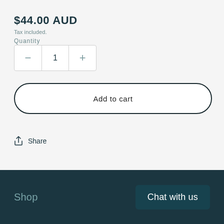$44.00 AUD
Tax included.
Quantity
1
Add to cart
Share
Shop   Chat with us